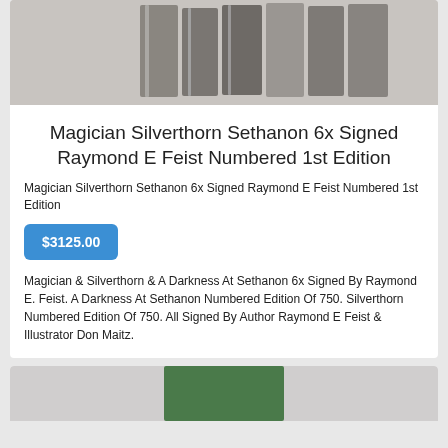[Figure (photo): Product photo of signed books standing upright, grayish-brown tones against light background]
Magician Silverthorn Sethanon 6x Signed Raymond E Feist Numbered 1st Edition
Magician Silverthorn Sethanon 6x Signed Raymond E Feist Numbered 1st Edition
$3125.00
Magician & Silverthorn & A Darkness At Sethanon 6x Signed By Raymond E. Feist. A Darkness At Sethanon Numbered Edition Of 750. Silverthorn Numbered Edition Of 750. All Signed By Author Raymond E Feist & Illustrator Don Maitz.
[Figure (photo): Partial product photo at bottom of page, green tones, cropped]